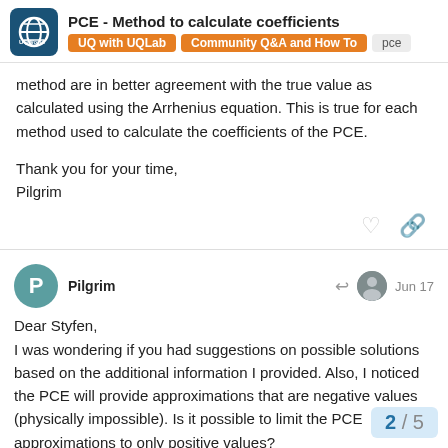PCE - Method to calculate coefficients | UQ with UQLab | Community Q&A and How To | pce
method are in better agreement with the true value as calculated using the Arrhenius equation. This is true for each method used to calculate the coefficients of the PCE.
Thank you for your time,
Pilgrim
Pilgrim  Jun 17
Dear Styfen,
I was wondering if you had suggestions on possible solutions based on the additional information I provided. Also, I noticed the PCE will provide approximations that are negative values (physically impossible). Is it possible to limit the PCE approximations to only positive values?
Thank you for your time.
2 / 5